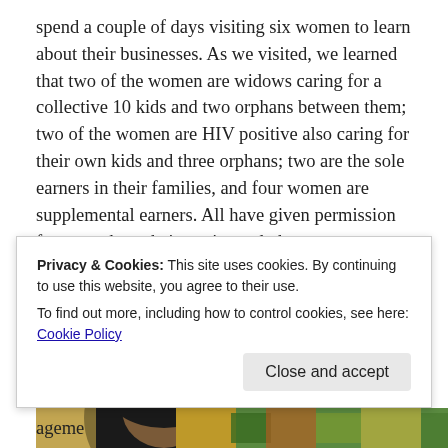spend a couple of days visiting six women to learn about their businesses. As we visited, we learned that two of the women are widows caring for a collective 10 kids and two orphans between them; two of the women are HIV positive also caring for their own kids and three orphans; two are the sole earners in their families, and four women are supplemental earners. All have given permission for us to share their stories and photos.
In additio...
[Figure (photo): Close-up photo of a woman wearing a dark hijab, with bottles visible in the background]
Privacy & Cookies: This site uses cookies. By continuing to use this website, you agree to their use.
To find out more, including how to control cookies, see here: Cookie Policy
Close and accept
ageme...
[Figure (photo): Colorful fabric or textile pattern visible at the bottom right]